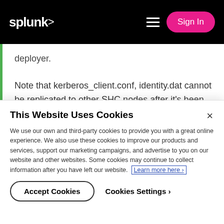splunk> [menu] Sign In
deployer.
Note that kerberos_client.conf, identity.dat cannot be replicated to other SHC nodes after it's been modified. You need to copy the files manually to other SHC nodes.
This Website Uses Cookies
We use our own and third-party cookies to provide you with a great online experience. We also use these cookies to improve our products and services, support our marketing campaigns, and advertise to you on our website and other websites. Some cookies may continue to collect information after you have left our website. Learn more here ›
Accept Cookies   Cookies Settings ›